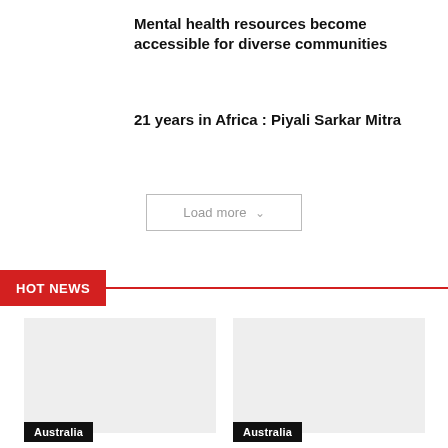Mental health resources become accessible for diverse communities
21 years in Africa : Piyali Sarkar Mitra
Load more ∨
HOT NEWS
[Figure (photo): Left news card image placeholder]
[Figure (photo): Right news card image placeholder]
Australia
Australia